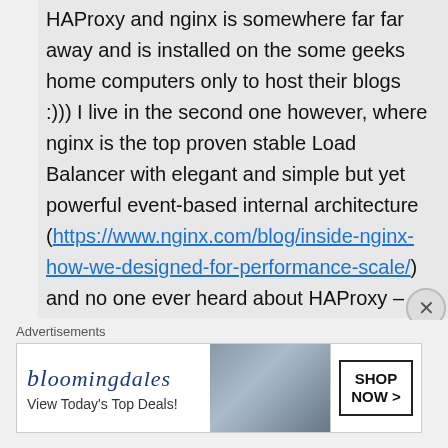HAProxy and nginx is somewhere far far away and is installed on the some geeks home computers only to host their blogs :))) I live in the second one however, where nginx is the top proven stable Load Balancer with elegant and simple but yet powerful event-based internal architecture (https://www.nginx.com/blog/inside-nginx-how-we-designed-for-performance-scale/) and no one ever heard about HAProxy – so yeah we know that it is present but why it is needed if we have nginx – I don't know for sure :)))
Advertisements
[Figure (other): Bloomingdale's advertisement banner with text 'View Today's Top Deals!' and 'SHOP NOW >' button, showing a woman in a hat]